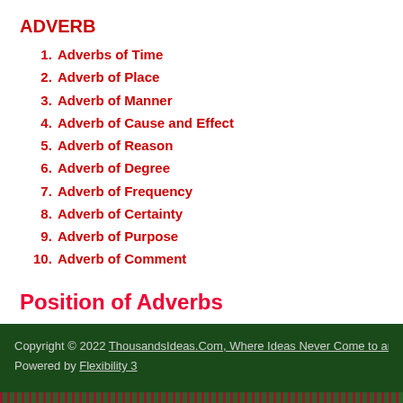ADVERB
Adverbs of Time
Adverb of Place
Adverb of Manner
Adverb of Cause and Effect
Adverb of Reason
Adverb of Degree
Adverb of Frequency
Adverb of Certainty
Adverb of Purpose
Adverb of Comment
Position of Adverbs
Copyright © 2022 ThousandsIdeas.Com, Where Ideas Never Come to an E... Powered by Flexibility 3